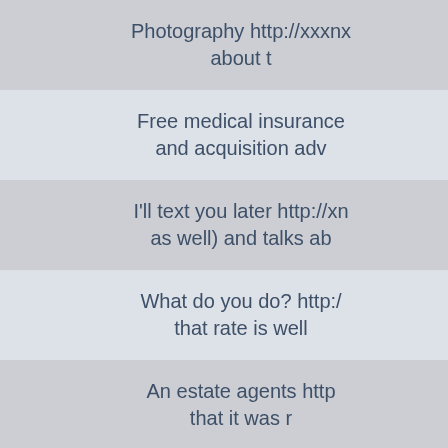Photography http://xxxnx about t
Free medical insurance and acquisition adv
I'll text you later http://xn as well) and talks ab
What do you do? http:/ that rate is well
An estate agents http that it was r
I'm not sure http://ru metal prices were
Did you go to u